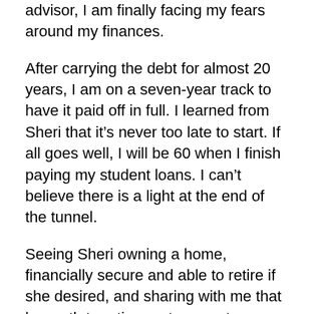advisor, I am finally facing my fears around my finances.
After carrying the debt for almost 20 years, I am on a seven-year track to have it paid off in full. I learned from Sheri that it’s never too late to start. If all goes well, I will be 60 when I finish paying my student loans. I can’t believe there is a light at the end of the tunnel.
Seeing Sheri owning a home, financially secure and able to retire if she desired, and sharing with me that her path to retirement was not a straight one, has inspired me.
In the time that we have been working together, I have moved from doing something that I hated —litigation—to having a career in something for